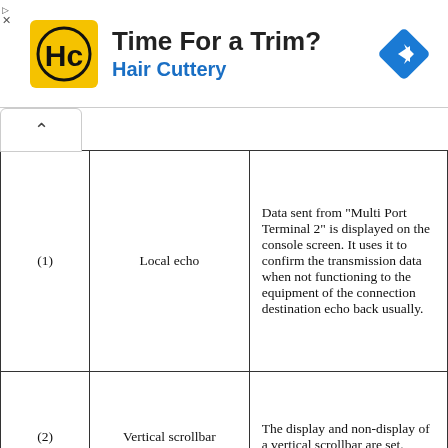[Figure (other): Advertisement banner for Hair Cuttery with logo, title 'Time For a Trim?', subtitle 'Hair Cuttery', and navigation icon]
|  |  |  |
| --- | --- | --- |
| (1) | Local echo | Data sent from "Multi Port Terminal 2" is displayed on the console screen. It uses it to confirm the transmission data when not functioning to the equipment of the connection destination echo back usually. |
| (2) | Vertical scrollbar | The display and non-display of a vertical scrollbar are set. |
| (3) | Horizontal scrollbar | The display and non-display of the horizontal |